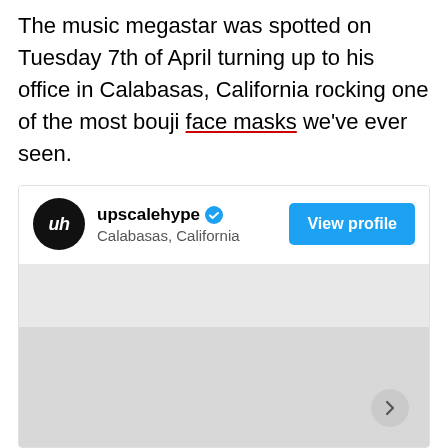The music megastar was spotted on Tuesday 7th of April turning up to his office in Calabasas, California rocking one of the most bouji face masks we've ever seen.
[Figure (screenshot): Instagram embed card for user 'upscalehype' with verified badge, location 'Calabasas, California', a 'View profile' blue button, and a gray image area with a next arrow button.]